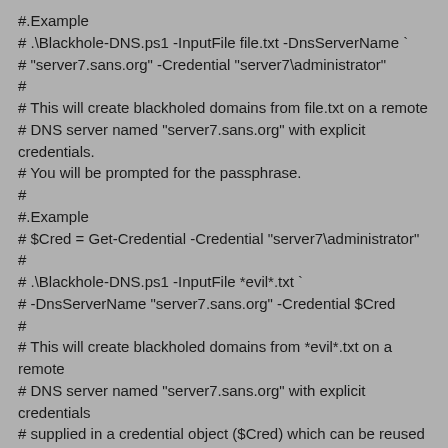#.Example
# .\Blackhole-DNS.ps1 -InputFile file.txt -DnsServerName `
# "server7.sans.org" -Credential "server7\administrator"
#
# This will create blackholed domains from file.txt on a remote
# DNS server named "server7.sans.org" with explicit credentials.
# You will be prompted for the passphrase.
#
#.Example
# $Cred = Get-Credential -Credential "server7\administrator"
#
# .\Blackhole-DNS.ps1 -InputFile *evil*.txt `
# -DnsServerName "server7.sans.org" -Credential $Cred
#
# This will create blackholed domains from *evil*.txt on a remote
# DNS server named "server7.sans.org" with explicit credentials
# supplied in a credential object ($Cred) which can be reused again.